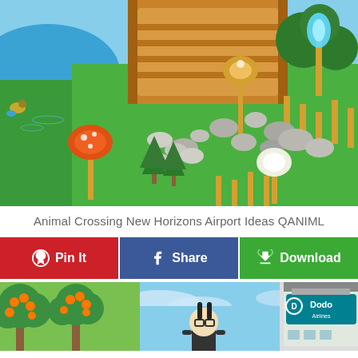[Figure (screenshot): Animal Crossing: New Horizons gameplay screenshot showing an isometric island view with a wooden bridge, blue water, green grass, stones, mushroom-topped lollipops, pine trees, and orange stick decorations.]
Animal Crossing New Horizons Airport Ideas QANIML
[Figure (screenshot): Social sharing action bar with three buttons: 'Pin It' (red with Pinterest logo), 'Share' (blue with Facebook logo), 'Download' (green with download cloud icon).]
[Figure (screenshot): Second Animal Crossing screenshot collage showing orange fruit trees, a black bunny character with glasses, and the Dodo Airlines airport building with teal signage.]